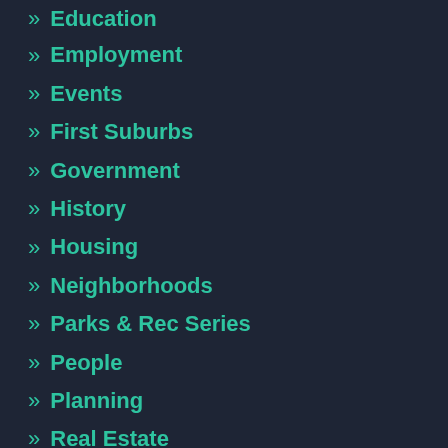Education
Employment
Events
First Suburbs
Government
History
Housing
Neighborhoods
Parks & Rec Series
People
Planning
Real Estate
Revitalization
Revitalization Library
Sports & Recreation